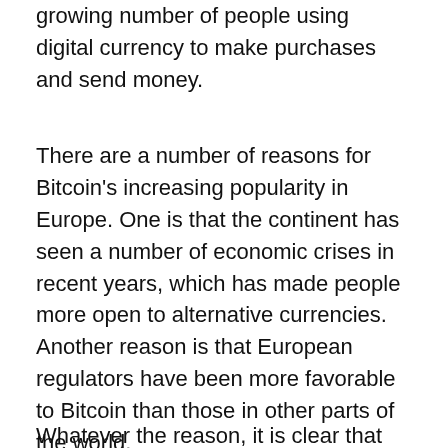growing number of people using digital currency to make purchases and send money.
There are a number of reasons for Bitcoin's increasing popularity in Europe. One is that the continent has seen a number of economic crises in recent years, which has made people more open to alternative currencies. Another reason is that European regulators have been more favorable to Bitcoin than those in other parts of the world.
Whatever the reason, it is clear that Bitcoin is